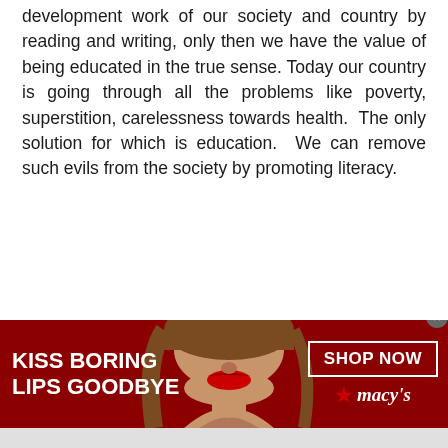development work of our society and country by reading and writing, only then we have the value of being educated in the true sense. Today our country is going through all the problems like poverty, superstition, carelessness towards health.  The only solution for which is education.  We can remove such evils from the society by promoting literacy.
[Figure (other): Macy's advertisement banner with dark red background showing a woman's face with red lipstick, text 'KISS BORING LIPS GOODBYE', a 'SHOP NOW' button, and the Macy's star logo]